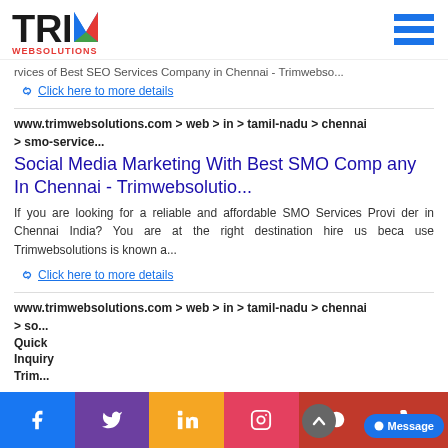TRIM WEBSOLUTIONS logo and navigation menu
rvices of Best SEO Services Company in Chennai - Trimwebso...
🔗 Click here to more details
www.trimwebsolutions.com > web > in > tamil-nadu > chennai > smo-service...
Social Media Marketing With Best SMO Company In Chennai - Trimwebsolutio...
If you are looking for a reliable and affordable SMO Services Provider in Chennai India? You are at the right destination hire us because Trimwebsolutions is known a...
🔗 Click here to more details
www.trimwebsolutions.com > web > in > tamil-nadu > chennai > so...
Quick Inquiry Trim...
Facebook Twitter LinkedIn Instagram WhatsApp Phone Message